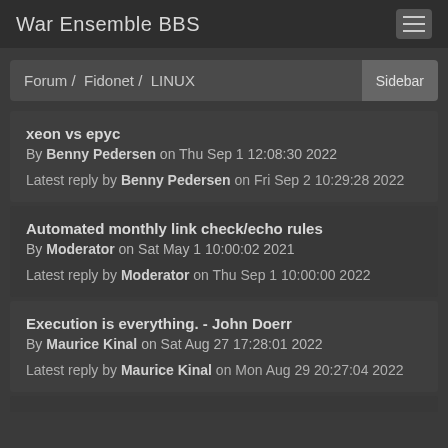War Ensemble BBS
Forum / Fidonet / LINUX
Sidebar
xeon vs epyc
By Benny Pedersen on Thu Sep 1 12:08:30 2022
Latest reply by Benny Pedersen on Fri Sep 2 10:29:28 2022
Automated monthly link check/echo rules
By Moderator on Sat May 1 10:00:02 2021
Latest reply by Moderator on Thu Sep 1 10:00:00 2022
Execution is everything. - John Doerr
By Maurice Kinal on Sat Aug 27 17:28:01 2022
Latest reply by Maurice Kinal on Mon Aug 29 20:27:04 2022